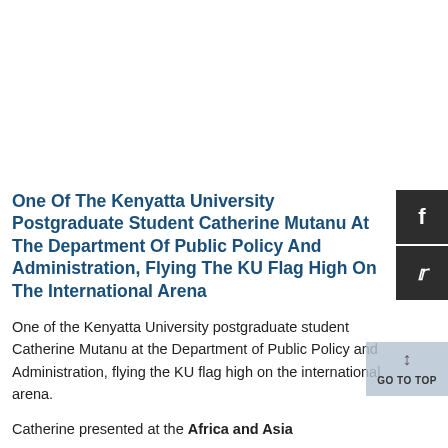One Of The Kenyatta University Postgraduate Student Catherine Mutanu At The Department Of Public Policy And Administration, Flying The KU Flag High On The International Arena
One of the Kenyatta University postgraduate student Catherine Mutanu at the Department of Public Policy and Administration, flying the KU flag high on the international arena.
Catherine presented at the Africa and Asia